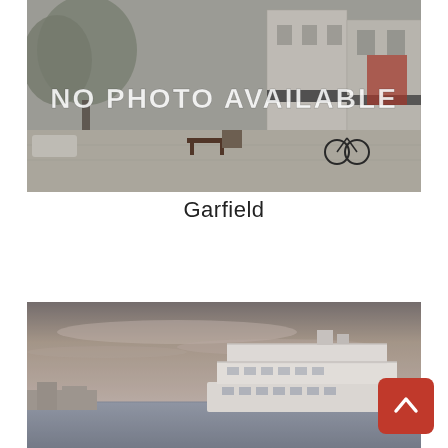[Figure (photo): Black and white street scene photo of a downtown sidewalk with trees, benches, storefronts, and a bicycle. Large white text overlay reads 'NO PHOTO AVAILABLE'.]
Garfield
[Figure (photo): Muted color photograph of a waterfront scene with a large white multi-deck boat/ship visible on the right side, and a dramatic cloudy sky above.]